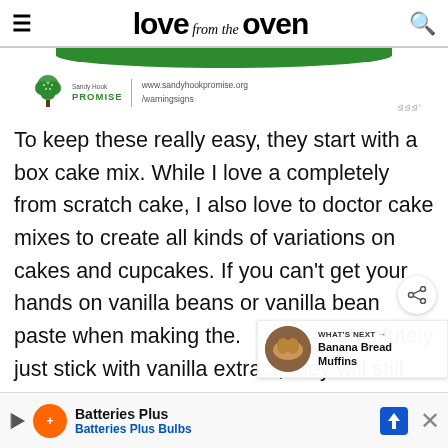love from the oven
[Figure (logo): Sandy Hook Promise advertisement banner with green wave, tree logo, and website URL www.sandyhookpromise.org/warningsigns]
To keep these really easy, they start with a box cake mix. While I love a completely from scratch cake, I also love to doctor cake mixes to create all kinds of variations on cakes and cupcakes. If you can't get your hands on vanilla beans or vanilla bean paste when making the. absolutely just stick with vanilla extract, they will still do with
[Figure (infographic): What's Next panel showing Banana Bread Muffins with circular muffin image]
[Figure (infographic): Batteries Plus / Batteries Plus Bulbs advertisement banner at bottom of page]